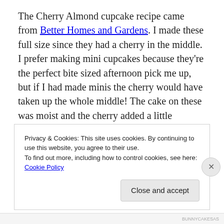The Cherry Almond cupcake recipe came from Better Homes and Gardens. I made these full size since they had a cherry in the middle. I prefer making mini cupcakes because they're the perfect bite sized afternoon pick me up, but if I had made minis the cherry would have taken up the whole middle! The cake on these was moist and the cherry added a little surprise, but the frosting was just okay. My co-workers who tried these also said they were
Privacy & Cookies: This site uses cookies. By continuing to use this website, you agree to their use. To find out more, including how to control cookies, see here: Cookie Policy
Close and accept